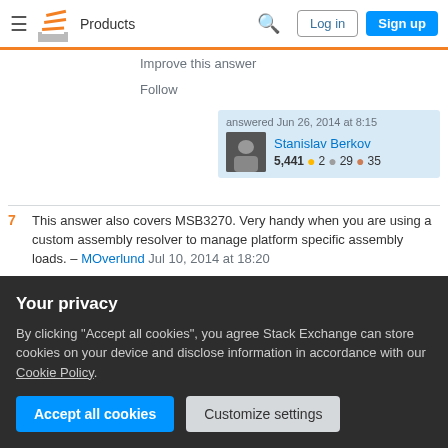Stack Overflow navigation — Products | Log in | Sign up
Improve this answer
Follow
answered Jun 26, 2014 at 8:15
Stanislav Berkov
5,441 ●2 ●29 ●35
7  This answer also covers MSB3270. Very handy when you are using a custom assembly resolver to manage platform specific assembly loads. – MOverlund Jul 10, 2014 at 18:20
18  Is there a complete list of these magic settings
Your privacy
By clicking "Accept all cookies", you agree Stack Exchange can store cookies on your device and disclose information in accordance with our Cookie Policy.
Accept all cookies   Customize settings
Clicked `Edit`. Then copied this `ResolveAssembly`